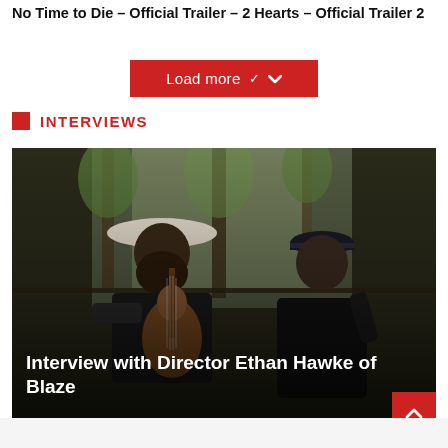No Time to Die – Official Trailer – 2 Hearts – Official Trailer 2
Load more ∨
INTERVIEWS
[Figure (photo): Two men sitting on a porch outdoors. The man on the left wears a white cowboy hat, has a large beard, and is playing an acoustic guitar. The man on the right wears a dark cap and appears to be speaking or gesturing. Trees and outdoor scenery visible in the background.]
Interview with Director Ethan Hawke of Blaze